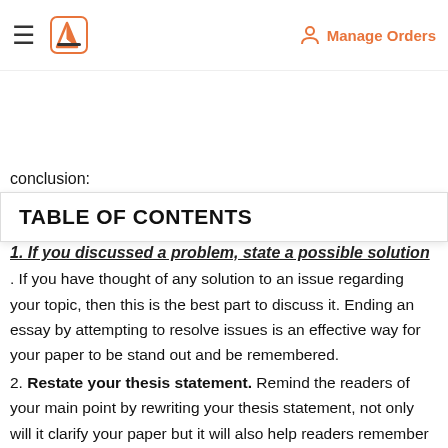Manage Orders
conclusion:
TABLE OF CONTENTS
1. If you discussed a problem, state a possible solution. If you have thought of any solution to an issue regarding your topic, then this is the best part to discuss it. Ending an essay by attempting to resolve issues is an effective way for your paper to be stand out and be remembered.
2. Restate your thesis statement. Remind the readers of your main point by rewriting your thesis statement, not only will it clarify your paper but it will also help readers remember your claims. Your thesis statement